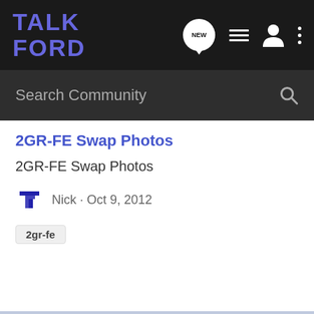TALK FORD
Search Community
2GR-FE Swap Photos
2GR-FE Swap Photos
Nick · Oct 9, 2012
2gr-fe